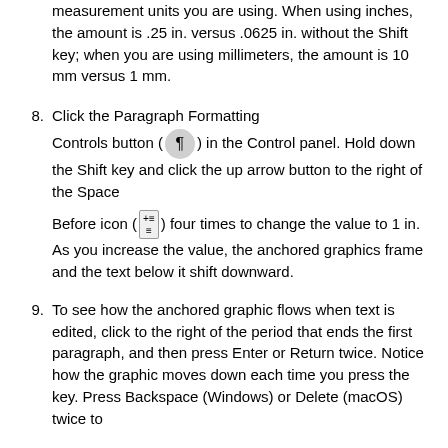measurement units you are using. When using inches, the amount is .25 in. versus .0625 in. without the Shift key; when you are using millimeters, the amount is 10 mm versus 1 mm.
8. Click the Paragraph Formatting Controls button (¶) in the Control panel. Hold down the Shift key and click the up arrow button to the right of the Space Before icon ( ) four times to change the value to 1 in. As you increase the value, the anchored graphics frame and the text below it shift downward.
9. To see how the anchored graphic flows when text is edited, click to the right of the period that ends the first paragraph, and then press Enter or Return twice. Notice how the graphic moves down each time you press the key. Press Backspace (Windows) or Delete (macOS) twice to